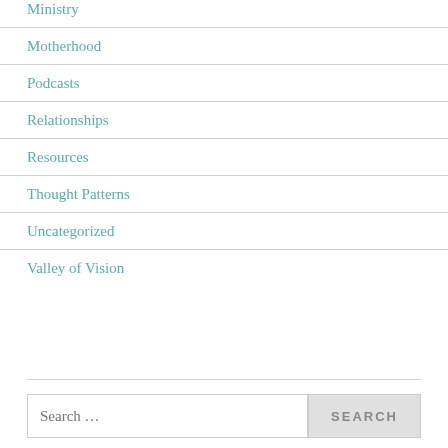Ministry
Motherhood
Podcasts
Relationships
Resources
Thought Patterns
Uncategorized
Valley of Vision
Search ...